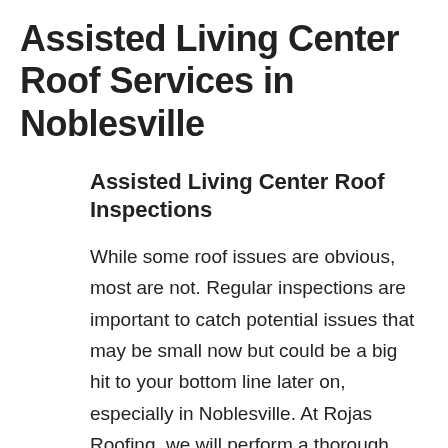Assisted Living Center Roof Services in Noblesville
Assisted Living Center Roof Inspections
While some roof issues are obvious, most are not. Regular inspections are important to catch potential issues that may be small now but could be a big hit to your bottom line later on, especially in Noblesville. At Rojas Roofing, we will perform a thorough inspection and check